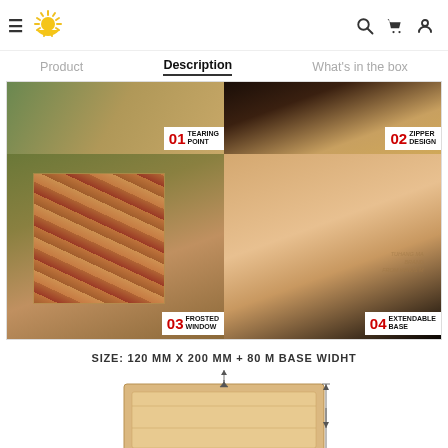Navigation header with logo, hamburger menu, search, cart, and user icons
Product   Description   What's in the box
[Figure (photo): Product feature grid showing 4 kraft paper bag features: 01 Tearing Point, 02 Zipper Design, 03 Frosted Window, 04 Extendable Base]
SIZE: 120 MM X 200 MM + 80 M BASE WIDHT
[Figure (engineering-diagram): Technical diagram of kraft paper bag showing dimensions: 120 MM width with arrows indicating measurement]